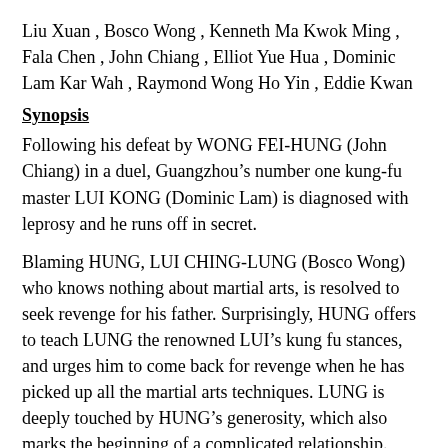Liu Xuan , Bosco Wong , Kenneth Ma Kwok Ming , Fala Chen , John Chiang , Elliot Yue Hua , Dominic Lam Kar Wah , Raymond Wong Ho Yin , Eddie Kwan
Synopsis
Following his defeat by WONG FEI-HUNG (John Chiang) in a duel, Guangzhou’s number one kung-fu master LUI KONG (Dominic Lam) is diagnosed with leprosy and he runs off in secret.
Blaming HUNG, LUI CHING-LUNG (Bosco Wong) who knows nothing about martial arts, is resolved to seek revenge for his father. Surprisingly, HUNG offers to teach LUNG the renowned LUI’s kung fu stances, and urges him to come back for revenge when he has picked up all the martial arts techniques. LUNG is deeply touched by HUNG’s generosity, which also marks the beginning of a complicated relationship.